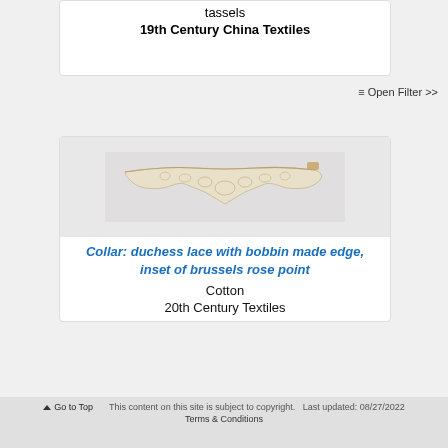tassels
19th Century China Textiles
≡ Open Filter >>
[Figure (photo): Photograph of a lace collar: duchess lace with bobbin made edge, inset of brussels rose point, displayed on a light grey background. The lace is cream/ivory coloured and has a delicate decorative pattern.]
Collar: duchess lace with bobbin made edge, inset of brussels rose point
Cotton
20th Century Textiles
↑ Go to Top   This content on this site is subject to copyright.   Last updated: 08/27/2022
Terms & Conditions